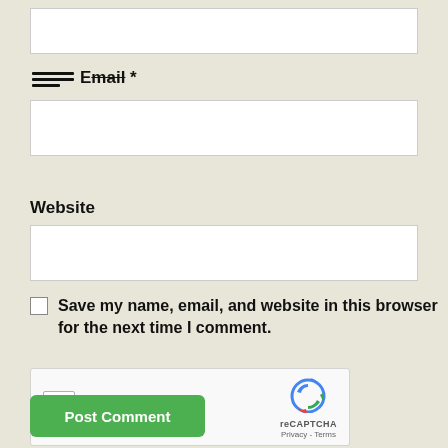[Figure (screenshot): Empty text input field at the top of the form]
Email *
[Figure (screenshot): Email text input field]
Website
[Figure (screenshot): Website text input field]
Save my name, email, and website in this browser for the next time I comment.
[Figure (screenshot): reCAPTCHA widget with I'm not a robot checkbox]
Post Comment